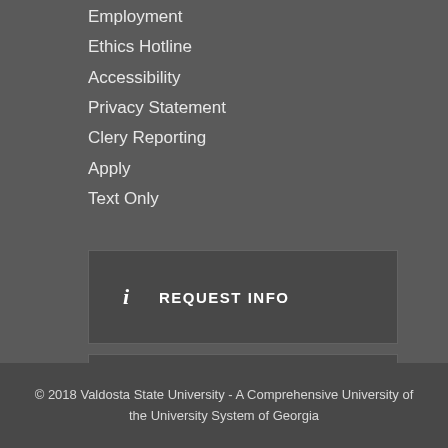Employment
Ethics Hotline
Accessibility
Privacy Statement
Clery Reporting
Apply
Text Only
[Figure (infographic): REQUEST INFO button with info icon]
[Figure (infographic): VISIT button with map icon]
[Figure (infographic): GIVE NOW button with heart/hands icon]
© 2018 Valdosta State University - A Comprehensive University of the University System of Georgia